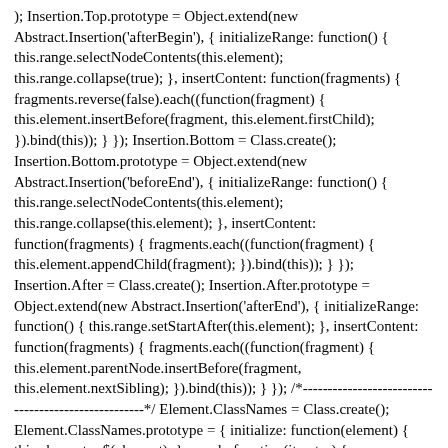); Insertion.Top.prototype = Object.extend(new Abstract.Insertion('afterBegin'), { initializeRange: function() { this.range.selectNodeContents(this.element); this.range.collapse(true); }, insertContent: function(fragments) { fragments.reverse(false).each((function(fragment) { this.element.insertBefore(fragment, this.element.firstChild); }).bind(this)); } }); Insertion.Bottom = Class.create(); Insertion.Bottom.prototype = Object.extend(new Abstract.Insertion('beforeEnd'), { initializeRange: function() { this.range.selectNodeContents(this.element); this.range.collapse(this.element); }, insertContent: function(fragments) { fragments.each((function(fragment) { this.element.appendChild(fragment); }).bind(this)); } }); Insertion.After = Class.create(); Insertion.After.prototype = Object.extend(new Abstract.Insertion('afterEnd'), { initializeRange: function() { this.range.setStartAfter(this.element); }, insertContent: function(fragments) { fragments.each((function(fragment) { this.element.parentNode.insertBefore(fragment, this.element.nextSibling); }).bind(this)); } }); /*-------------------------------------------------------*/ Element.ClassNames = Class.create(); Element.ClassNames.prototype = { initialize: function(element) { this.element = $(element); }, _each: function(iterator) { this.element.className.split(/\s+/).select(function(name) { return name.length > 0; }).each(iterator); }, set: function(className) {